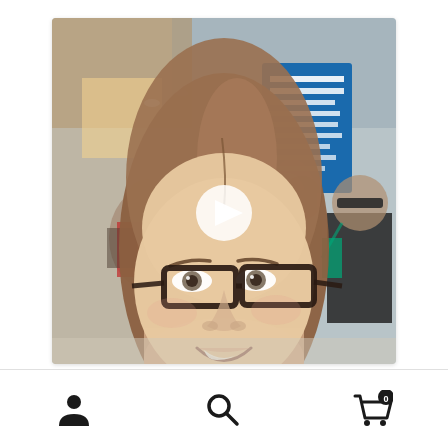[Figure (photo): A video thumbnail showing a smiling woman with straight brown hair and dark-rimmed glasses in the foreground, with a play button overlay in the center. The background shows a busy indoor venue (appears to be a convention or exhibition hall) with multiple people, a blue digital sign board, and an entrance hallway visible.]
[Figure (screenshot): Bottom navigation bar with three icons: a person/user icon on the left, a search/magnifying glass icon in the center, and a shopping cart icon with a badge showing '0' on the right.]